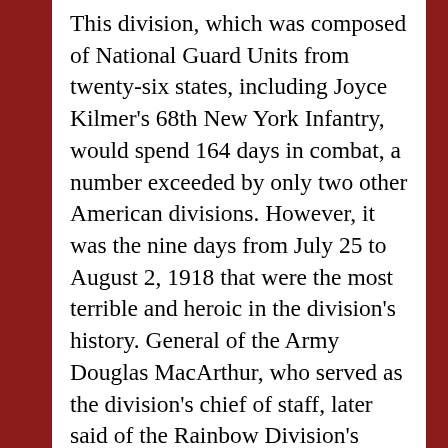This division, which was composed of National Guard Units from twenty-six states, including Joyce Kilmer's 68th New York Infantry, would spend 164 days in combat, a number exceeded by only two other American divisions. However, it was the nine days from July 25 to August 2, 1918 that were the most terrible and heroic in the division's history. General of the Army Douglas MacArthur, who served as the division's chief of staff, later said of the Rainbow Division's fighting during those pivotal days, "There was neither rest nor mercy." During those nine days, the Rainbow Division would spearhead the Allied attack in the Aisne-Marne region, the final phase of the Second Battle of the Marne, that saw the last major German offensive on the Western Front defeated. Unfortunately, American leadership